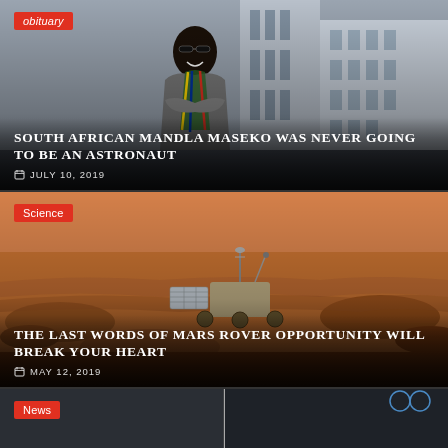[Figure (photo): A smiling man wearing sunglasses and a South African flag scarf/jacket, arms crossed, standing outdoors in an urban setting. Red 'obituary' badge in top-left corner.]
SOUTH AFRICAN MANDLA MASEKO WAS NEVER GOING TO BE AN ASTRONAUT
JULY 10, 2019
[Figure (photo): A Mars rover (Opportunity) on the rocky red surface of Mars. Red 'Science' badge in top-left corner.]
THE LAST WORDS OF MARS ROVER OPPORTUNITY WILL BREAK YOUR HEART
MAY 12, 2019
[Figure (photo): Partial view of a third article card with a 'News' badge in red.]